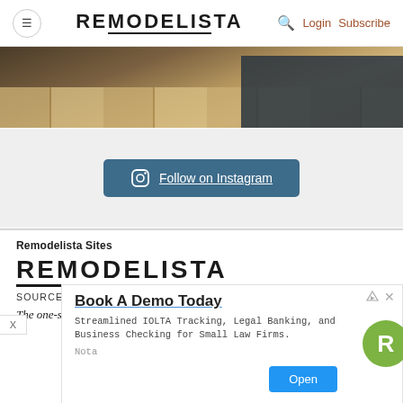≡ REMODELISTA 🔍 Login Subscribe
[Figure (photo): Partial view of a room with wooden floor and dark-framed glass door or partition]
Follow on Instagram
Remodelista Sites
REMODELISTA
SOURCEBOOK FOR THE CONSIDERED HOME
The one-stop sourcebook for the considered home, guiding
[Figure (infographic): Advertisement: Book A Demo Today — Streamlined IOLTA Tracking, Legal Banking, and Business Checking for Small Law Firms. Nota. Open button. Green R logo.]